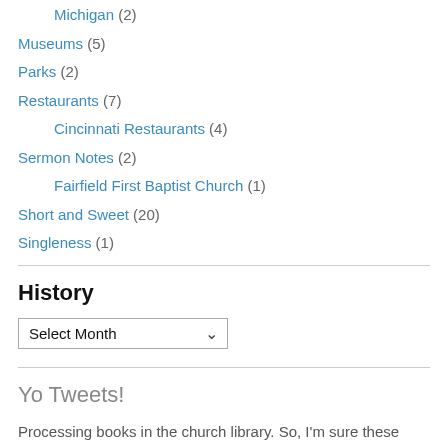Michigan (2)
Museums (5)
Parks (2)
Restaurants (7)
Cincinnati Restaurants (4)
Sermon Notes (2)
Fairfield First Baptist Church (1)
Short and Sweet (20)
Singleness (1)
History
Select Month
Yo Tweets!
Processing books in the church library. So, I'm sure these questions would be the same questions as men, because.......
twitter.com/itugh/status/1… 1 month ago